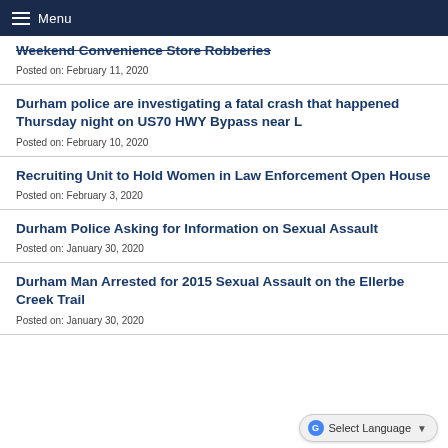Menu
Weekend Convenience Store Robberies
Posted on: February 11, 2020
Durham police are investigating a fatal crash that happened Thursday night on US70 HWY Bypass near L
Posted on: February 10, 2020
Recruiting Unit to Hold Women in Law Enforcement Open House
Posted on: February 3, 2020
Durham Police Asking for Information on Sexual Assault
Posted on: January 30, 2020
Durham Man Arrested for 2015 Sexual Assault on the Ellerbe Creek Trail
Posted on: January 30, 2020